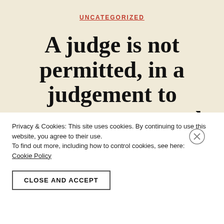UNCATEGORIZED
A judge is not permitted, in a judgement to express a personal view on a political question – But is that not what Lady Dorrian did
Privacy & Cookies: This site uses cookies. By continuing to use this website, you agree to their use.
To find out more, including how to control cookies, see here: Cookie Policy
CLOSE AND ACCEPT